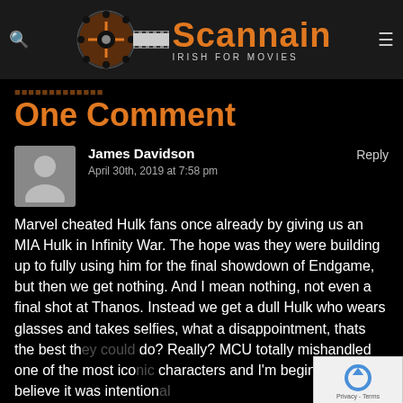Scannain – Irish for Movies
One Comment
James Davidson
April 30th, 2019 at 7:58 pm
Reply
Marvel cheated Hulk fans once already by giving us an MIA Hulk in Infinity War. The hope was they were building up to fully using him for the final showdown of Endgame, but then we get nothing. And I mean nothing, not even a final shot at Thanos. Instead we get a dull Hulk who wears glasses and takes selfies, what a disappointment, thats the best they could do? Really? MCU totally mishandled one of the most iconic characters and I'm beginning to believe it was intentional